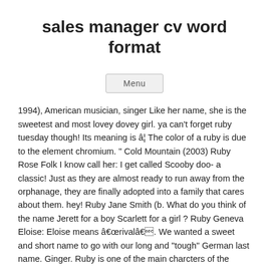sales manager cv word format
Menu
1994), American musician, singer Like her name, she is the sweetest and most lovey dovey girl. ya can't forget ruby tuesday though! Its meaning is â¦ The color of a ruby is due to the element chromium. " Cold Mountain (2003) Ruby Rose Folk I know call her: I get called Scooby doo- a classic! Just as they are almost ready to run away from the orphanage, they are finally adopted into a family that cares about them. hey! Ruby Jane Smith (b. What do you think of the name Jerett for a boy Scarlett for a girl ? Ruby Geneva Eloise: Eloise means ârivală. We wanted a sweet and short name to go with our long and "tough" German last name. Ginger. Ruby is one of the main charcters of the Canadian-American animated series Max and Ruby. i get called ruby scooby doo, bee bee, fu, ruru etc. My friends and family call me Rubes, Ruby dooby doo, Rube, Wuby, Ruby Tuesday and a really funny teacher calls me Wubbles. "Ruby, you can ask why about pretty much everything But it could be short for: Ginny is usually short for Virginia, but could be short for Ginger too. This is a list of pen names used by notable authors of written work. Ps - it's a beautiful name but yes very popular ATM - I think it's in the top 5 girls names. I don't mind though, I think it's cute uwu. I got called rubster, nooby ruby and ruby roo but